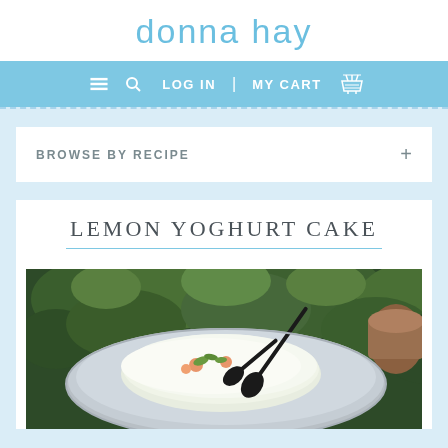donna hay
LOG IN | MY CART
BROWSE BY RECIPE
LEMON YOGHURT CAKE
[Figure (photo): A lemon yoghurt cake on a plate with scissors, photographed outdoors against a green leafy background]